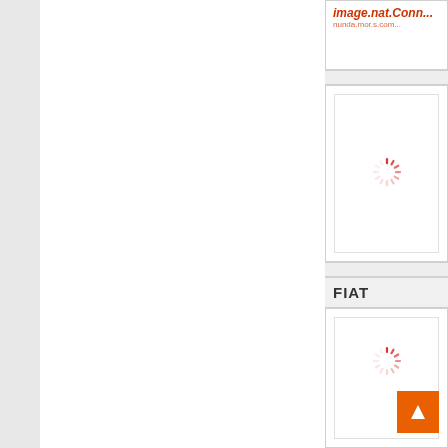[Figure (screenshot): Left white panel area of a webpage UI]
[Figure (screenshot): Top right card with partially visible red italic title text and URL]
[Figure (screenshot): Middle right card with loading spinner icon]
FIAT
[Figure (screenshot): Bottom right card with loading spinner and orange play/upload button with white triangle arrow]